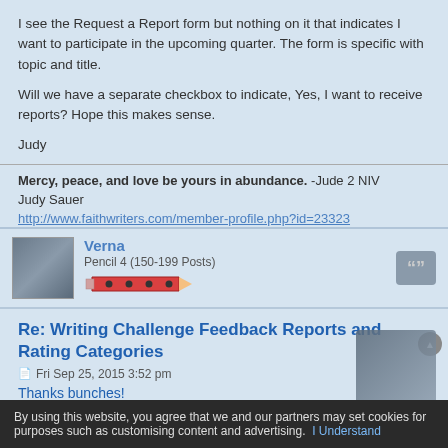I see the Request a Report form but nothing on it that indicates I want to participate in the upcoming quarter. The form is specific with topic and title.
Will we have a separate checkbox to indicate, Yes, I want to receive reports? Hope this makes sense.
Judy
Mercy, peace, and love be yours in abundance. -Jude 2 NIV
Judy Sauer
http://www.faithwriters.com/member-profile.php?id=23323
Verna
Pencil 4 (150-199 Posts)
Re: Writing Challenge Feedback Reports and Rating Categories
Fri Sep 25, 2015 3:52 pm
Thanks bunches!
By using this website, you agree that we and our partners may set cookies for purposes such as customising content and advertising. I Understand